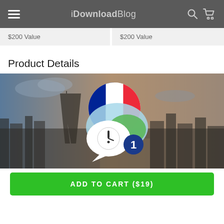iDownloadBlog
$200 Value
$200 Value
Product Details
[Figure (illustration): Paris skyline with Eiffel Tower and French language learning app logo (speech bubbles with French flag, clock with exclamation mark, and number 1 badge)]
ADD TO CART ($19)